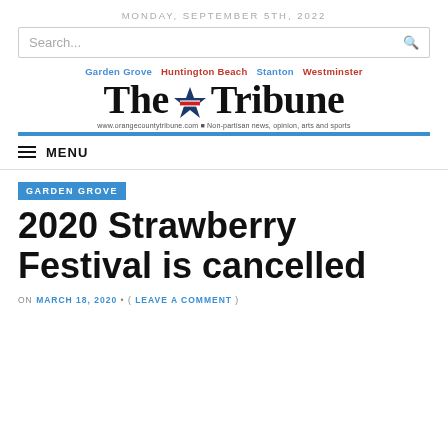MONDAY, SEPTEMBER 5TH, 2022
Search...
[Figure (logo): The Tribune newspaper logo with city names Garden Grove, Huntington Beach, Stanton, Westminster and subtitle www.orangecountytribune.com Non-partisan news, opinion, arts and sports]
MENU
GARDEN GROVE
2020 Strawberry Festival is cancelled
ON MARCH 18, 2020 • ( LEAVE A COMMENT )